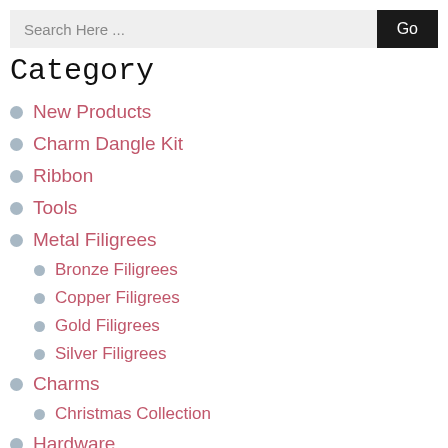Search Here ...
Category
New Products
Charm Dangle Kit
Ribbon
Tools
Metal Filigrees
Bronze Filigrees
Copper Filigrees
Gold Filigrees
Silver Filigrees
Charms
Christmas Collection
Hardware
Cameos, Cabochons & Settings